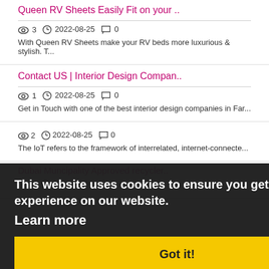Queen RV Sheets Easily Fit on your ..
👁 3  🕐 2022-08-25  💬 0
With Queen RV Sheets make your RV beds more luxurious & stylish. T...
Contact US | Interior Design Compan..
👁 1  🕐 2022-08-25  💬 0
Get in Touch with one of the best interior design companies in Far...
This website uses cookies to ensure you get the best experience on our website.
Learn more
Got it!
👁 2  🕐 2022-08-25  💬 0
The IoT refers to the framework of interrelated, internet-connecte...
Dubai Muncipality Approved recycler..
👁 3  🕐 2022-08-24  💬 0